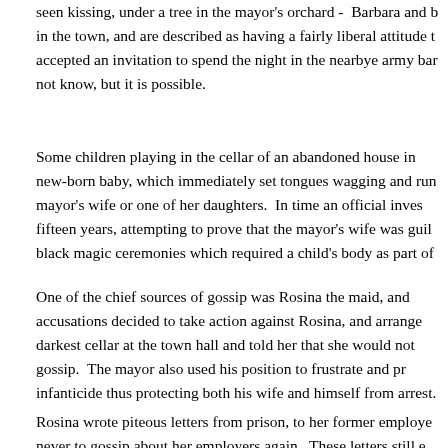seen kissing, under a tree in the mayor's orchard - Barbara and b in the town, and are described as having a fairly liberal attitude t accepted an invitation to spend the night in the nearbye army bar not know, but it is possible.
Some children playing in the cellar of an abandoned house in new-born baby, which immediately set tongues wagging and run mayor's wife or one of her daughters. In time an official inves fifteen years, attempting to prove that the mayor's wife was guil black magic ceremonies which required a child's body as part of
One of the chief sources of gossip was Rosina the maid, and accusations decided to take action against Rosina, and arrange darkest cellar at the town hall and told her that she would not gossip. The mayor also used his position to frustrate and pr infanticide thus protecting both his wife and himself from arrest.
Rosina wrote piteous letters from prison, to her former employe never to gossip about her employers again. These letters still e difficulties in storing them in good condition they can still b